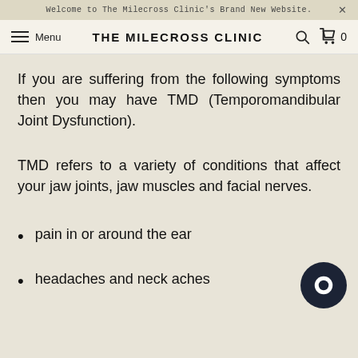Welcome to The Milecross Clinic's Brand New Website.
THE MILECROSS CLINIC
If you are suffering from the following symptoms then you may have TMD (Temporomandibular Joint Dysfunction).
TMD refers to a variety of conditions that affect your jaw joints, jaw muscles and facial nerves.
pain in or around the ear
headaches and neck aches